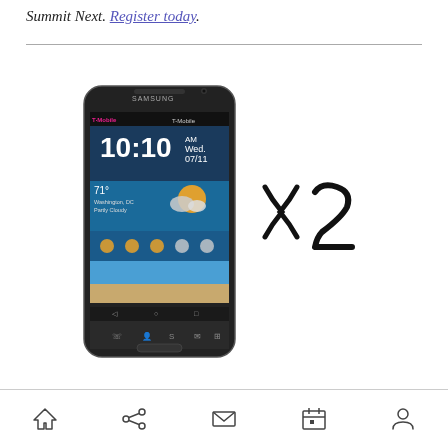Summit Next. Register today.
[Figure (photo): A Samsung Galaxy Note smartphone (T-Mobile) showing the home screen with time 10:10 AM, Wednesday 07/11, and weather showing 71 degrees, alongside a handwritten 'x 2' indicating two phones]
Navigation bar with home, share, mail, calendar, and person icons